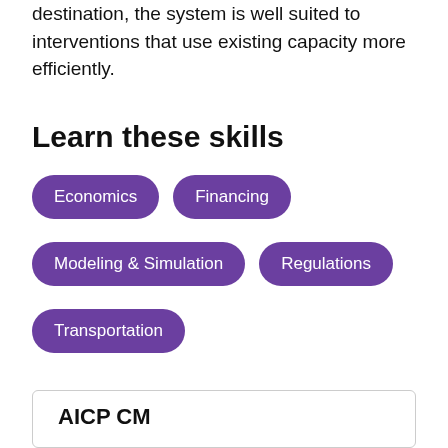destination, the system is well suited to interventions that use existing capacity more efficiently.
Learn these skills
Economics
Financing
Modeling & Simulation
Regulations
Transportation
AICP CM